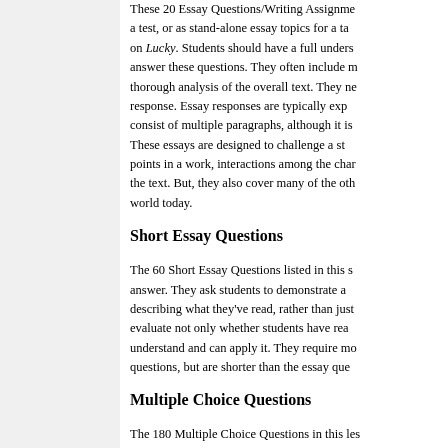These 20 Essay Questions/Writing Assignments can be used as a test, or as stand-alone essay topics for a take-home or in-class writing assignment on Lucky. Students should have a full understanding of the work to answer these questions. They often include multiple parts and require a thorough analysis of the overall text. They need not be limited to a single response. Essay responses are typically expected to be one to two pages and consist of multiple paragraphs, although it is possible to write a thorough response in less. These essays are designed to challenge a student's understanding of important points in a work, interactions among the characters, and main themes of the text. But, they also cover many of the other elements of the work and the world today.
Short Essay Questions
The 60 Short Essay Questions listed in this section require a one to two sentence answer. They ask students to demonstrate an understanding of the work by describing what they've read, rather than just recalling it. The teacher may evaluate not only whether students have read the work, but how well they understand and can apply it. They require more thought than multiple choice questions, but are shorter than the essay questions.
Multiple Choice Questions
The 180 Multiple Choice Questions in this lesson plan will test a student's understanding of Lucky. Use these questions for quizzes, homework assignments or tests. The questions are broken out into sections, so they focus on specific chapters within Lucky. This allows you to test and review the book as you proceed through the unit. Typically, there are 5-15 questions per c
Evaluation Forms